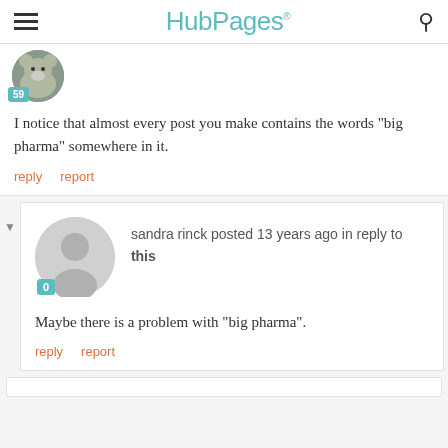HubPages
I notice that almost every post you make contains the words "big pharma" somewhere in it.
reply   report
sandra rinck posted 13 years ago in reply to this
Maybe there is a problem with "big pharma".
reply   report